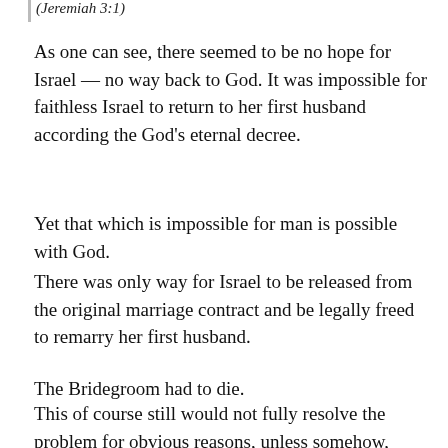(Jeremiah 3:1)
As one can see, there seemed to be no hope for Israel — no way back to God. It was impossible for faithless Israel to return to her first husband according the God's eternal decree.
Yet that which is impossible for man is possible with God.
There was only way for Israel to be released from the original marriage contract and be legally freed to remarry her first husband.
The Bridegroom had to die.
This of course still would not fully resolve the problem for obvious reasons, unless somehow, someway the